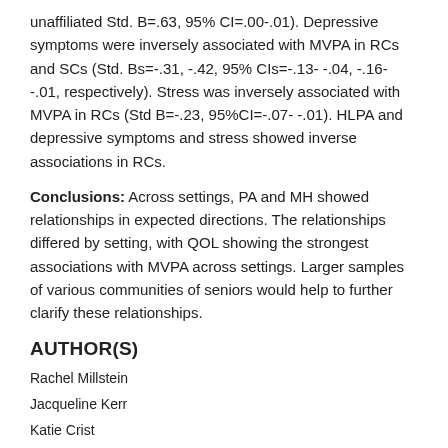unaffiliated Std. B=.63, 95% CI=.00-.01). Depressive symptoms were inversely associated with MVPA in RCs and SCs (Std. Bs=-.31, -.42, 95% CIs=-.13- -.04, -.16- -.01, respectively). Stress was inversely associated with MVPA in RCs (Std B=-.23, 95%CI=-.07- -.01). HLPA and depressive symptoms and stress showed inverse associations in RCs.
Conclusions: Across settings, PA and MH showed relationships in expected directions. The relationships differed by setting, with QOL showing the strongest associations with MVPA across settings. Larger samples of various communities of seniors would help to further clarify these relationships.
AUTHOR(S)
Rachel Millstein
Jacqueline Kerr
Katie Crist
Lu Wang